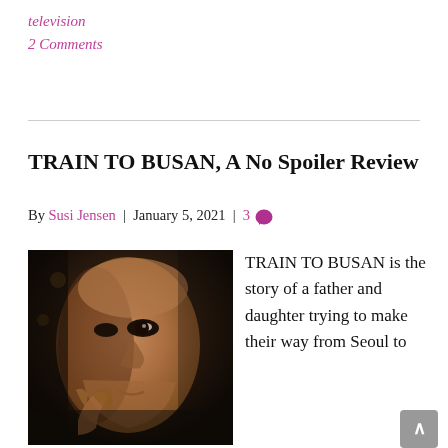television
2 Comments
TRAIN TO BUSAN, A No Spoiler Review
By Susi Jensen | January 5, 2021 | 3 💬
[Figure (photo): Close-up photo of a man's face, dark atmospheric lighting, looking to the side]
TRAIN TO BUSAN is the story of a father and daughter trying to make their way from Seoul to